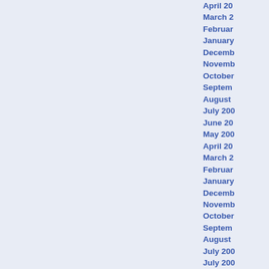April 20...
March 2...
February...
January...
December...
November...
October...
September...
August...
July 200...
June 20...
May 200...
April 20...
March 2...
February...
January...
December...
November...
October...
September...
August...
July 200...
July 200...
June 20...
May 200...
April 20...
March 2...
February...
January...
December...
November...
October...